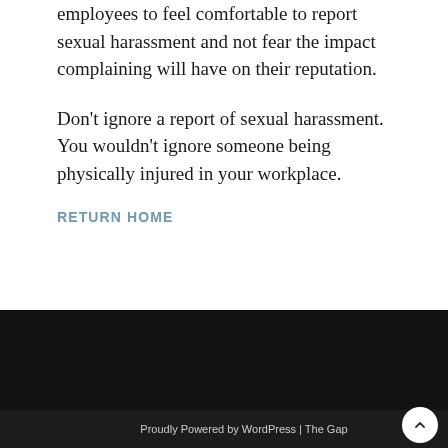employees to feel comfortable to report sexual harassment and not fear the impact complaining will have on their reputation.
Don't ignore a report of sexual harassment. You wouldn't ignore someone being physically injured in your workplace.
RETURN HOME
Proudly Powered by WordPress | The Gap